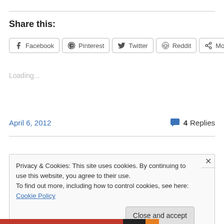Share this:
[Figure (other): Social share buttons: Facebook, Pinterest, Twitter, Reddit, More]
Loading...
April 6, 2012   4 Replies
Privacy & Cookies: This site uses cookies. By continuing to use this website, you agree to their use. To find out more, including how to control cookies, see here: Cookie Policy
Close and accept